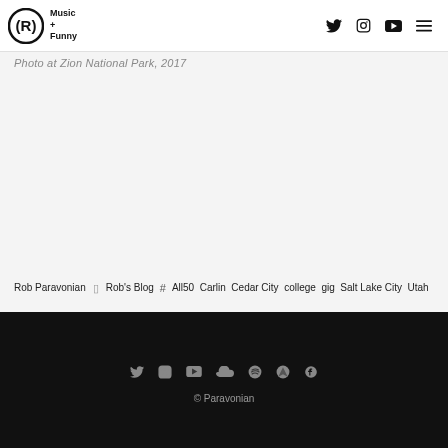Rob Paravonian Music + Funny — header with Twitter, Instagram, YouTube icons and hamburger menu
Photo at Zion National Park, 2017
Rob Paravonian  Rob's Blog  # All50 Carlin Cedar City college gig Salt Lake City Utah
© Paravonian — social icons: Twitter, Instagram, YouTube, SoundCloud, Spotify, Bandcamp, Facebook